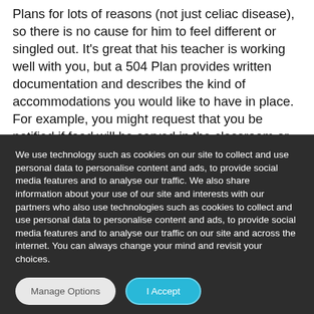Plans for lots of reasons (not just celiac disease), so there is no cause for him to feel different or singled out. It's great that his teacher is working well with you, but a 504 Plan provides written documentation and describes the kind of accommodations you would like to have in place. For example, you might request that you be notified if food will be served in the classroom or on field trips, who in the kitchen will be responsible for preparing and handling his lunch, or if macaroni might be used to do a craft
We use technology such as cookies on our site to collect and use personal data to personalise content and ads, to provide social media features and to analyse our traffic. We also share information about your use of our site and interests with our partners who also use technologies such as cookies to collect and use personal data to personalise content and ads, to provide social media features and to analyse our traffic on our site and across the internet. You can always change your mind and revisit your choices.